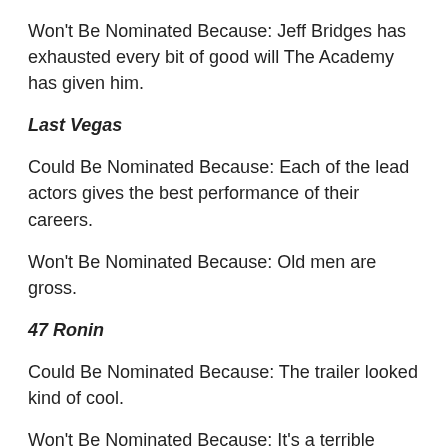Won't Be Nominated Because: Jeff Bridges has exhausted every bit of good will The Academy has given him.
Last Vegas
Could Be Nominated Because: Each of the lead actors gives the best performance of their careers.
Won't Be Nominated Because: Old men are gross.
47 Ronin
Could Be Nominated Because: The trailer looked kind of cool.
Won't Be Nominated Because: It's a terrible movie.
Grudge Match